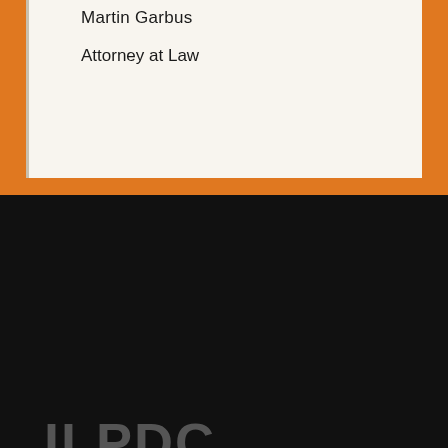Martin Garbus
Attorney at Law
ILPDC
The International Leonard Peltier Defense Committee (ILPDC) is the hub of communication between Leonard Peltier and his program coordinators, the general public, government officials, political and tribal leaders, the media, and his supporters worldwide.
Sign Up For Updates